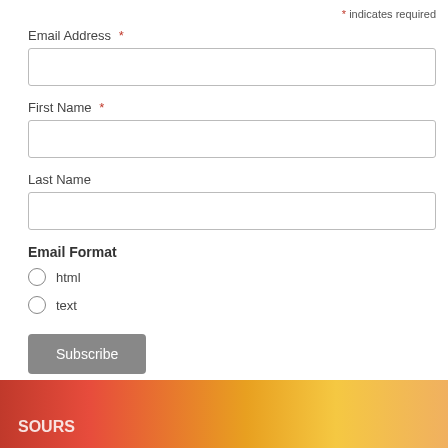* indicates required
Email Address *
First Name *
Last Name
Email Format
html
text
Subscribe
[Figure (photo): Colorful candy packaging image in red, yellow, and orange tones at the bottom of the page]